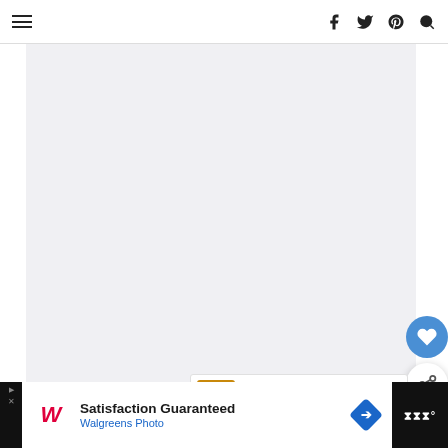Navigation bar with hamburger menu and social icons (f, twitter, pinterest, search)
[Figure (photo): Large light gray content/image area placeholder]
[Figure (illustration): Blue circular heart/favorite button floating on right side]
[Figure (illustration): White circular share button with plus icon floating on right side]
WHAT'S NEXT → Best French Toast Ever
Save
[Figure (screenshot): Advertisement bar: Walgreens Photo - Satisfaction Guaranteed]